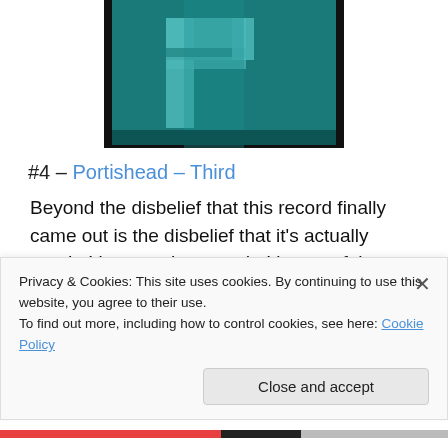[Figure (photo): Album cover for Portishead – Third, showing a large teal/dark background with a stylized letter P in lighter teal tones]
#4 – Portishead – Third
Beyond the disbelief that this record finally came out is the disbelief that it's actually good.  It's more than good.  It's one of the best records I have ever heard.  After 11 years they are back with a record which is a completely new exploration and a very enjoyable one.  Their commitment
Privacy & Cookies: This site uses cookies. By continuing to use this website, you agree to their use.
To find out more, including how to control cookies, see here: Cookie Policy
Close and accept